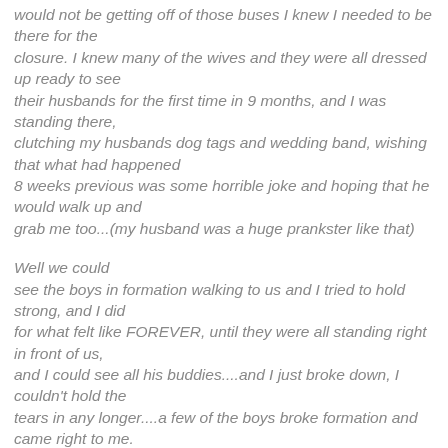would not be getting off of those buses I knew I needed to be there for the closure. I knew many of the wives and they were all dressed up ready to see their husbands for the first time in 9 months, and I was standing there, clutching my husbands dog tags and wedding band, wishing that what had happened 8 weeks previous was some horrible joke and hoping that he would walk up and grab me too...(my husband was a huge prankster like that)
Well we could see the boys in formation walking to us and I tried to hold strong, and I did for what felt like FOREVER, until they were all standing right in front of us, and I could see all his buddies....and I just broke down, I couldn't hold the tears in any longer....a few of the boys broke formation and came right to me.